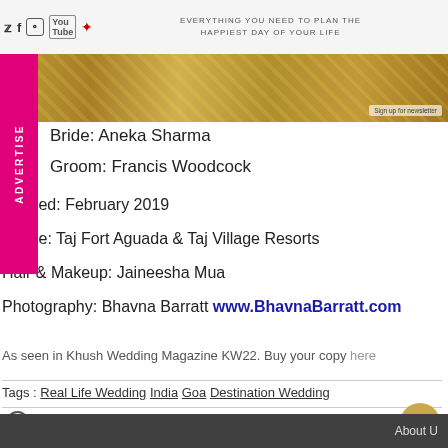EVERYTHING YOU NEED TO PLAN THE HAPPIEST DAY OF YOUR LIFE
Bride: Aneka Sharma
Groom: Francis Woodcock
Married: February 2019
Venue: Taj Fort Aguada & Taj Village Resorts
Hair & Makeup: Jaineesha Mua
Photography: Bhavna Barratt www.BhavnaBarratt.com
As seen in Khush Wedding Magazine KW22. Buy your copy here
Tags : Real Life Wedding India Goa Destination Wedding
Previous Article
About U